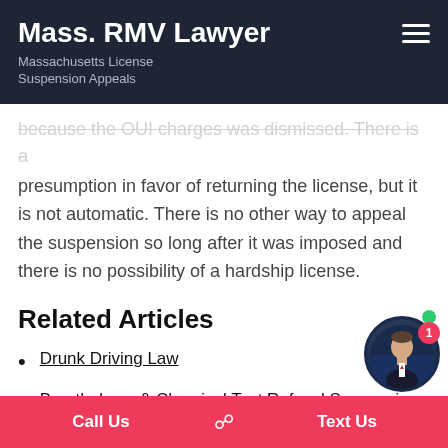Mass. RMV Lawyer
Massachusetts License Suspension Appeals
because the OUI charges was dismissed. There is a presumption in favor of returning the license, but it is not automatic. There is no other way to appeal the suspension so long after it was imposed and there is no possibility of a hardship license.
Related Articles
Drunk Driving Law
Breathalyzer & Chemical Test Refusal Suspension
Breathalyzer Refusal Suspension Appeal
Breathalyzer Refusal Rights & Penalties
Call Us   Text Us